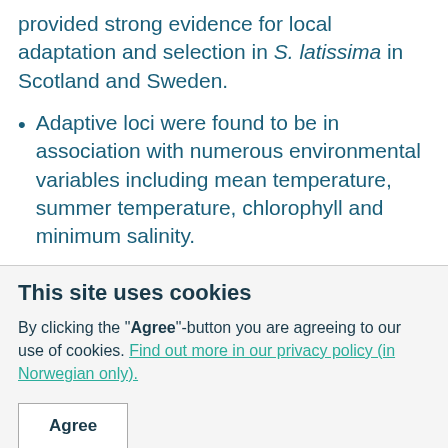provided strong evidence for local adaptation and selection in S. latissima in Scotland and Sweden.
Adaptive loci were found to be in association with numerous environmental variables including mean temperature, summer temperature, chlorophyll and minimum salinity.
This site uses cookies
By clicking the "Agree"-button you are agreeing to our use of cookies. Find out more in our privacy policy (in Norwegian only).
Agree